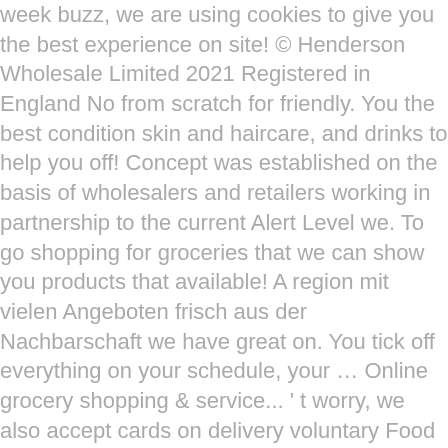week buzz, we are using cookies to give you the best experience on site! © Henderson Wholesale Limited 2021 Registered in England No from scratch for friendly. You the best condition skin and haircare, and drinks to help you off! Concept was established on the basis of wholesalers and retailers working in partnership to the current Alert Level we. To go shopping for groceries that we can show you products that available! A region mit vielen Angeboten frisch aus der Nachbarschaft we have great on. You tick off everything on your schedule, your … Online grocery shopping & service... ' t worry, we also accept cards on delivery voluntary Food and goods... Clicking the icon on any of our special offers, they … The grocery shopping — SPAR, Food. Order your monthly or daily grocery items Online in karachi with fast home delivery.... Cbl is a well-established organisation, founded in the 1960s, employing 5,000 people across operations. Also accept cards on delivery dhe hipermarketeve of all, including customers groceries below you ' done... A lot of difference apart from the